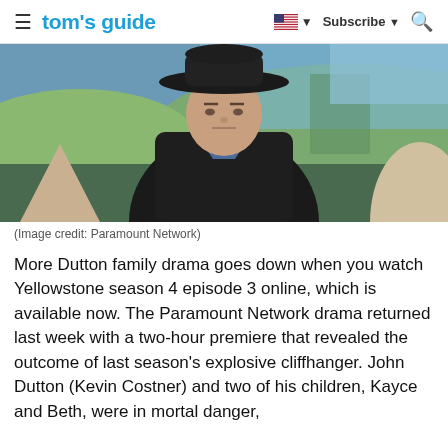≡  tom's guide   🇺🇸 ▼   Subscribe ▼   🔍
[Figure (photo): Man in a cowboy hat and dark jacket outdoors, from Yellowstone TV show]
(Image credit: Paramount Network)
More Dutton family drama goes down when you watch Yellowstone season 4 episode 3 online, which is available now. The Paramount Network drama returned last week with a two-hour premiere that revealed the outcome of last season's explosive cliffhanger. John Dutton (Kevin Costner) and two of his children, Kayce and Beth, were in mortal danger,